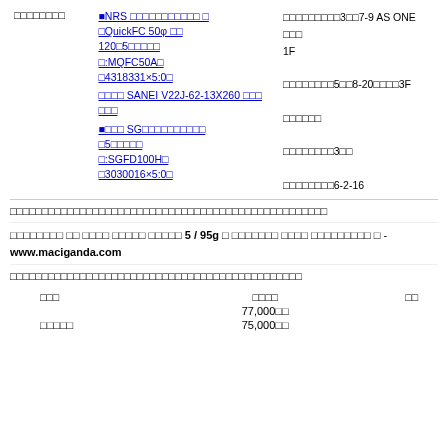|  |  |  |
| --- | --- | --- |
| □□□□□□□□ | ■NRS □□□□□□□□□□□ □
□QuickFC 50φ □□
120□5□□□□□
□:MQFC50A□
□4318331×5:0□
□□□□ SANEI V22J-62-13X260 □□□
□□□
■□□□ SG□□□□□□□□□□
□5□□□□□
□:SGFD100H□
□3030016×5:0□ | □□□□□□□□□3□□7-9 AS ONE □□□
1F
□□□□□□□□5□□8-20□□□□3F
□□□□□□
□□□□□□□□3□□
□□□□□□□□6-2-16 |
□□□□□□□□□□□□□□□□□□□□□□□□□□□□□□□□□□□□□□□□□□□□□□□□□□
□□□□□□□□ □□ □□□□ □□□□□ □□□□□ 5 / 95g □ □□□□□□□ □□□□ □□□□□□□□□ □ - www.maciganda.com
□□□□□□□□□□□□□□□□□□□□□□□□□□□□□□□□□□□□□□□□□□□□□
| □□□ | □□□□ | □□ |
| --- | --- | --- |
|  | 77,000□□ |  |
| □□□□□ | 75,000□□ |  |